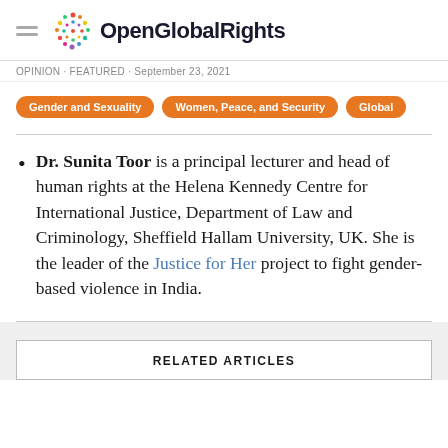OpenGlobalRights
OPINION · FEATURED · September 23, 2021
Gender and Sexuality   Women, Peace, and Security   Global
Dr. Sunita Toor is a principal lecturer and head of human rights at the Helena Kennedy Centre for International Justice, Department of Law and Criminology, Sheffield Hallam University, UK. She is the leader of the Justice for Her project to fight gender-based violence in India.
RELATED ARTICLES